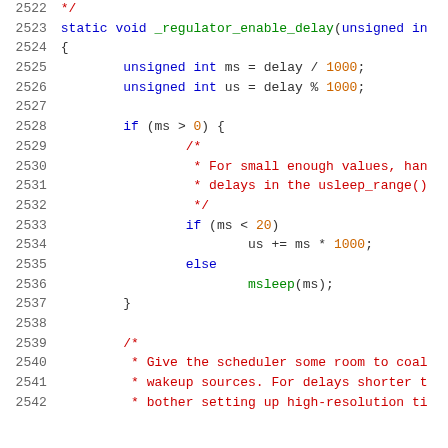Source code listing lines 2522-2542, C function _regulator_enable_delay
2522  */
2523  static void _regulator_enable_delay(unsigned in
2524  {
2525      unsigned int ms = delay / 1000;
2526      unsigned int us = delay % 1000;
2527
2528      if (ms > 0) {
2529              /*
2530               * For small enough values, han
2531               * delays in the usleep_range()
2532               */
2533              if (ms < 20)
2534                      us += ms * 1000;
2535              else
2536                      msleep(ms);
2537      }
2538
2539      /*
2540       * Give the scheduler some room to coal
2541       * wakeup sources. For delays shorter t
2542       * bother setting up high-resolution ti